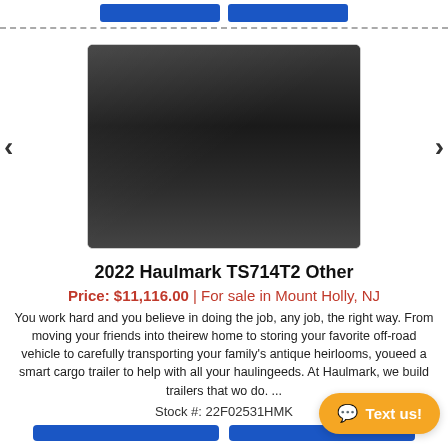[Figure (photo): Photo of a black Haulmark TS714T2 cargo trailer parked in a lot, shown from the front-left angle with trees visible in the background.]
2022 Haulmark TS714T2 Other
Price: $11,116.00 | For sale in Mount Holly, NJ
You work hard and you believe in doing the job, any job, the right way. From moving your friends into theirew home to storing your favorite off-road vehicle to carefully transporting your family's antique heirlooms, youeed a smart cargo trailer to help with all your haulingeeds. At Haulmark, we build trailers that wo do. ...
Stock #: 22F02531HMK